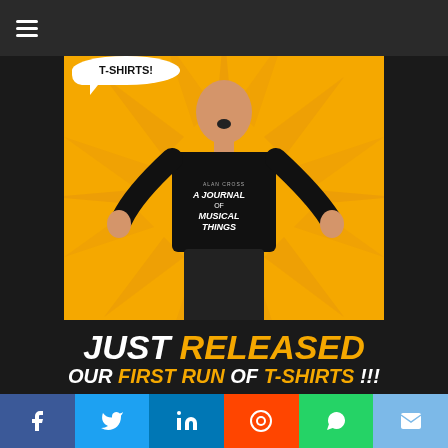☰ (hamburger menu)
[Figure (photo): A man wearing a black t-shirt that reads 'ALAN CROSS - A JOURNAL OF MUSICAL THINGS' on an orange/yellow sunburst background, with his hands raised in an excited gesture. A speech bubble in the top left reads 'T-SHIRTS!']
JUST RELEASED OUR FIRST RUN OF T-SHIRTS !!!
Social share bar: Facebook, Twitter, LinkedIn, Reddit, WhatsApp, Email